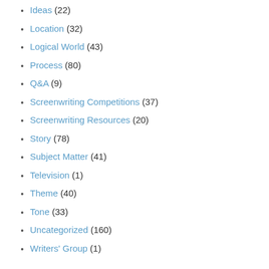Ideas (22)
Location (32)
Logical World (43)
Process (80)
Q&A (9)
Screenwriting Competitions (37)
Screenwriting Resources (20)
Story (78)
Subject Matter (41)
Television (1)
Theme (40)
Tone (33)
Uncategorized (160)
Writers' Group (1)
Archives
February 2017
December 2016
January 2016